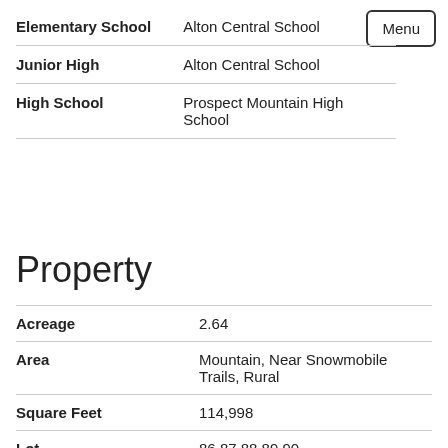| Field | Value |
| --- | --- |
| Elementary School | Alton Central School |
| Junior High | Alton Central School |
| High School | Prospect Mountain High School |
Property
| Field | Value |
| --- | --- |
| Acreage | 2.64 |
| Area | Mountain, Near Snowmobile Trails, Rural |
| Square Feet | 114,998 |
| Lot | 86,87,88,89,90 |
| Road Frontage | 817 |
| Roads | Gravel, Seasonal |